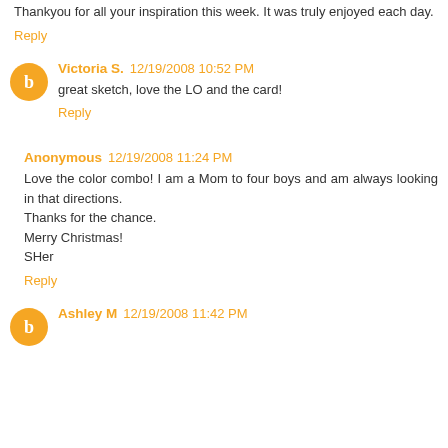Thankyou for all your inspiration this week. It was truly enjoyed each day.
Reply
Victoria S. 12/19/2008 10:52 PM
great sketch, love the LO and the card!
Reply
Anonymous 12/19/2008 11:24 PM
Love the color combo! I am a Mom to four boys and am always looking in that directions.
Thanks for the chance.
Merry Christmas!
SHer
Reply
Ashley M 12/19/2008 11:42 PM